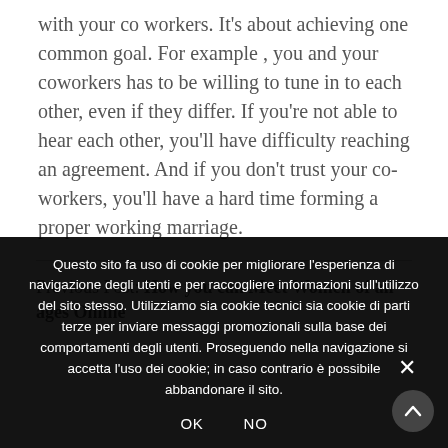with your co workers. It's about achieving one common goal. For example , you and your coworkers has to be willing to tune in to each other, even if they differ. If you're not able to hear each other, you'll have difficulty reaching an agreement. And if you don't trust your co-workers, you'll have a hard time forming a proper working marriage.
Previous Post: How you can Meet Women of all ages Online
Questo sito fa uso di cookie per migliorare l'esperienza di navigazione degli utenti e per raccogliere informazioni sull'utilizzo del sito stesso. Utilizziamo sia cookie tecnici sia cookie di parti terze per inviare messaggi promozionali sulla base dei comportamenti degli utenti. Proseguendo nella navigazione si accetta l'uso dei cookie; in caso contrario è possibile abbandonare il sito.